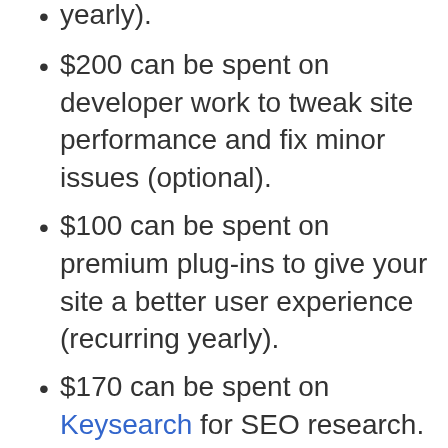yearly).
$200 can be spent on developer work to tweak site performance and fix minor issues (optional).
$100 can be spent on premium plug-ins to give your site a better user experience (recurring yearly).
$170 can be spent on Keysearch for SEO research.
$75 can be spent on a